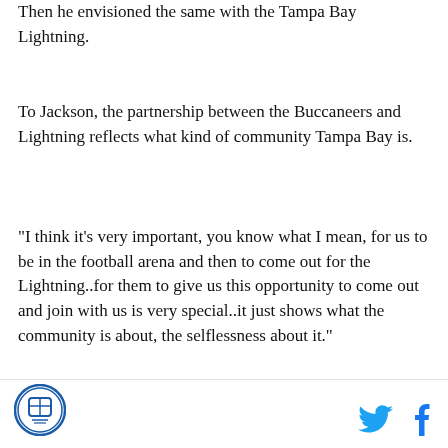Then he envisioned the same with the Tampa Bay Lightning.
To Jackson, the partnership between the Buccaneers and Lightning reflects what kind of community Tampa Bay is.
"I think it's very important, you know what I mean, for us to be in the football arena and then to come out for the Lightning..for them to give us this opportunity to come out and join with us is very special..it just shows what the community is about, the selflessness about it."
For more information on the Jackson in Action 83 Foundation, visit...jacksoninaction83...
[Figure (logo): Circular logo with blue emblem on white background, bottom left footer]
[Figure (other): Twitter bird icon in cyan blue, bottom right footer]
[Figure (other): Facebook f icon in dark blue, bottom right footer]